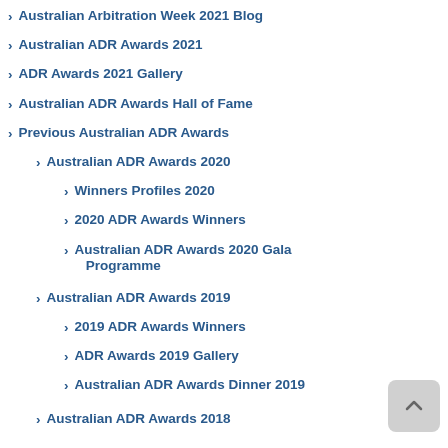Australian Arbitration Week 2021 Blog
Australian ADR Awards 2021
ADR Awards 2021 Gallery
Australian ADR Awards Hall of Fame
Previous Australian ADR Awards
Australian ADR Awards 2020
Winners Profiles 2020
2020 ADR Awards Winners
Australian ADR Awards 2020 Gala Programme
Australian ADR Awards 2019
2019 ADR Awards Winners
ADR Awards 2019 Gallery
Australian ADR Awards Dinner 2019
Australian ADR Awards 2018